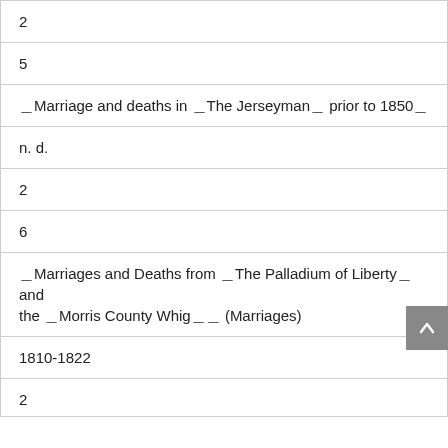| 2 |
| 5 |
| ␦Marriage and deaths in ␦The Jerseyman␦ prior to 1850␦ |
| n. d. |
| 2 |
| 6 |
| ␦Marriages and Deaths from ␦The Palladium of Liberty␦ and the ␦Morris County Whig␦␦ (Marriages) |
| 1810-1822 |
| 2 |